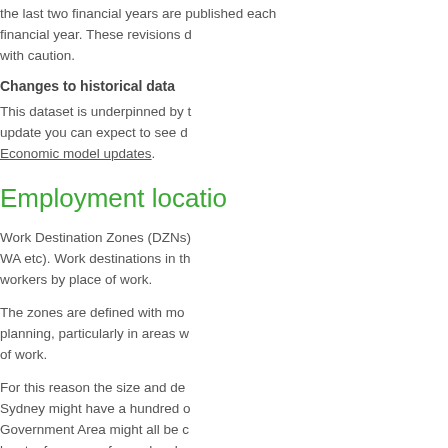the last two financial years are published each financial year. These revisions d with caution.
Changes to historical data
This dataset is underpinned by t update you can expect to see d Economic model updates.
Employment locatio
Work Destination Zones (DZNs) WA etc). Work destinations in th workers by place of work.
The zones are defined with mo planning, particularly in areas w of work.
For this reason the size and de Sydney might have a hundred o Government Area might all be c least a few zones for each subu a zone covering each small tow